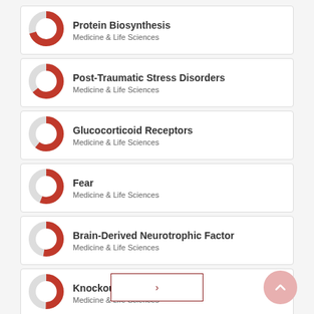Protein Biosynthesis — Medicine & Life Sciences
Post-Traumatic Stress Disorders — Medicine & Life Sciences
Glucocorticoid Receptors — Medicine & Life Sciences
Fear — Medicine & Life Sciences
Brain-Derived Neurotrophic Factor — Medicine & Life Sciences
Knockout Mice — Medicine & Life Sciences
[Figure (other): Navigation button with right arrow chevron and scroll-to-top button]